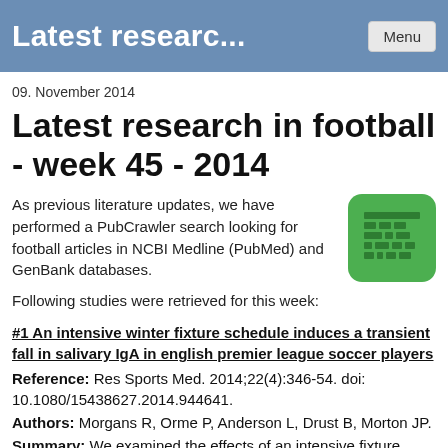Latest researc...
09. November 2014
Latest research in football - week 45 - 2014
As previous literature updates, we have performed a PubCrawler search looking for football articles in NCBI Medline (PubMed) and GenBank databases.
[Figure (logo): Green rounded square icon with a stylized bar chart / football pitch grid graphic in dark green]
Following studies were retrieved for this week:
#1 An intensive winter fixture schedule induces a transient fall in salivary IgA in english premier league soccer players
Reference: Res Sports Med. 2014;22(4):346-54. doi: 10.1080/15438627.2014.944641.
Authors: Morgans R, Orme P, Anderson L, Drust B, Morton JP.
Summary: We examined the effects of an intensive fixture schedule on salivary IgA (SIgA) concentration in professional soccer players from the English Premier League. Salivary samples were obtained from 21 males